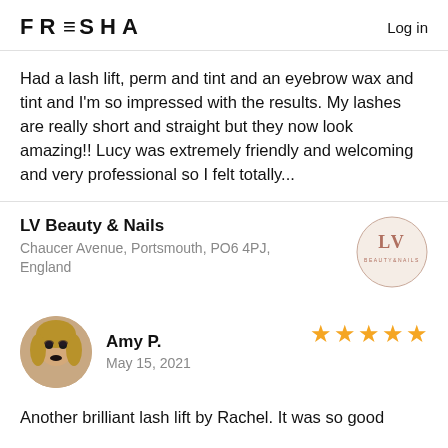FRESHA  Log in
Had a lash lift, perm and tint and an eyebrow wax and tint and I'm so impressed with the results. My lashes are really short and straight but they now look amazing!! Lucy was extremely friendly and welcoming and very professional so I felt totally...
LV Beauty & Nails
Chaucer Avenue, Portsmouth, PO6 4PJ, England
[Figure (logo): LV Beauty & Nails circular logo with 'LV' letters and 'BEAUTY&NAILS' text around the border]
[Figure (photo): Circular avatar photo of Amy P., a woman with blonde hair and dark lipstick]
Amy P.
May 15, 2021
★★★★★
Another brilliant lash lift by Rachel. It was so good